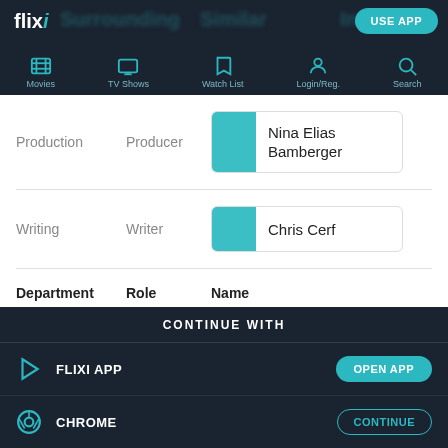flixi — USE APP
[Figure (screenshot): Navigation bar with icons: Movies, TV Shows, Watch List, Login/Reg., Search]
| Department | Role | Name |
| --- | --- | --- |
| Production | Producer | Nina Elias Bamberger |
| Writing | Writer | Chris Cerf |
CONTINUE WITH
FLIXI APP — OPEN APP
CHROME — CONTINUE